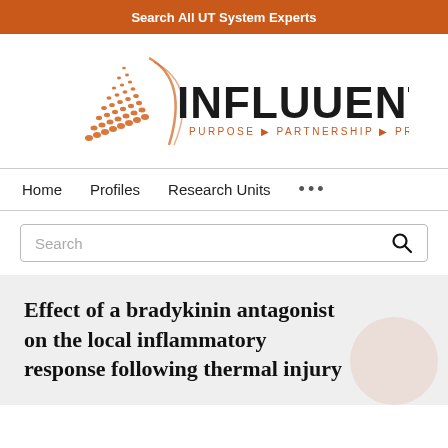Search All UT System Experts
[Figure (logo): Influuent logo with orange geometric arrow/triangle pattern and text INFLUUENT PURPOSE PARTNERSHIP PROGRESS]
Home   Profiles   Research Units   ...
Search
Effect of a bradykinin antagonist on the local inflammatory response following thermal injury